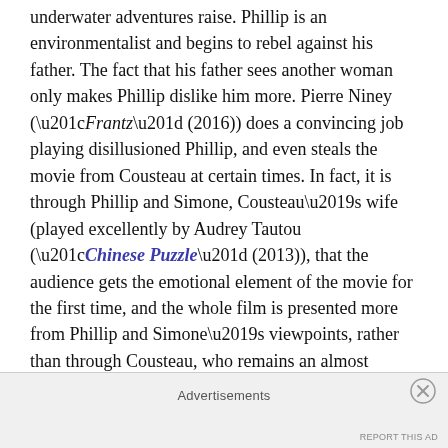underwater adventures raise. Phillip is an environmentalist and begins to rebel against his father. The fact that his father sees another woman only makes Phillip dislike him more. Pierre Niney (“Frantz” (2016)) does a convincing job playing disillusioned Phillip, and even steals the movie from Cousteau at certain times. In fact, it is through Phillip and Simone, Cousteau’s wife (played excellently by Audrey Tautou (“Chinese Puzzle” (2013)), that the audience gets the emotional element of the movie for the first time, and the whole film is presented more from Phillip and Simone’s viewpoints, rather than through Cousteau, who remains an almost mysterious antagonist throughout. This lack of focus severely damages the impact of the film.
Advertisements